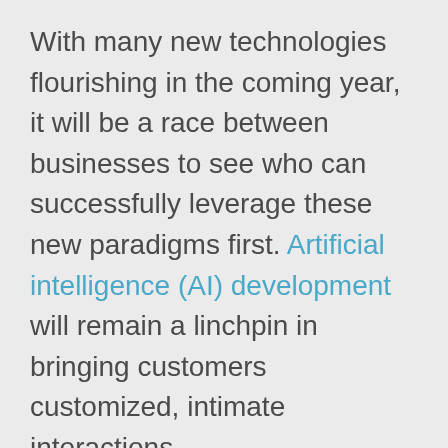With many new technologies flourishing in the coming year, it will be a race between businesses to see who can successfully leverage these new paradigms first. Artificial intelligence (AI) development will remain a linchpin in bringing customers customized, intimate interactions.